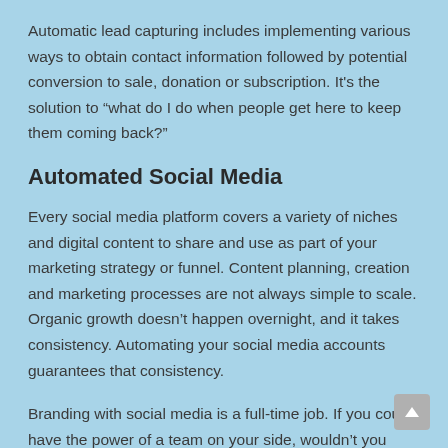Automatic lead capturing includes implementing various ways to obtain contact information followed by potential conversion to sale, donation or subscription. It's the solution to “what do I do when people get here to keep them coming back?”
Automated Social Media
Every social media platform covers a variety of niches and digital content to share and use as part of your marketing strategy or funnel. Content planning, creation and marketing processes are not always simple to scale. Organic growth doesn’t happen overnight, and it takes consistency. Automating your social media accounts guarantees that consistency.
Branding with social media is a full-time job. If you could have the power of a team on your side, wouldn’t you want the help?
Automated Advertising